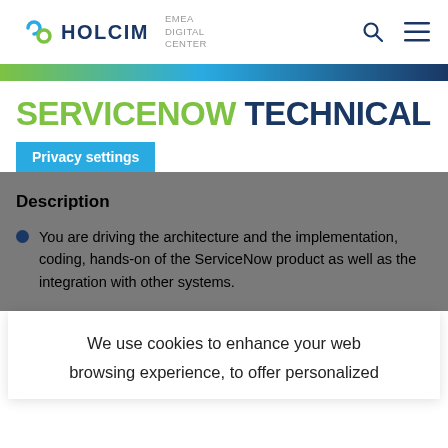HOLCIM — EMEA DIGITAL CENTER
SERVICENOW TECHNICAL
Privacy settings
Description
You are driving the architecture and the implementation, coding, hands-on of the ServiceNow product as well as the integration with other systems.
We use cookies to enhance your web browsing experience, to offer personalized